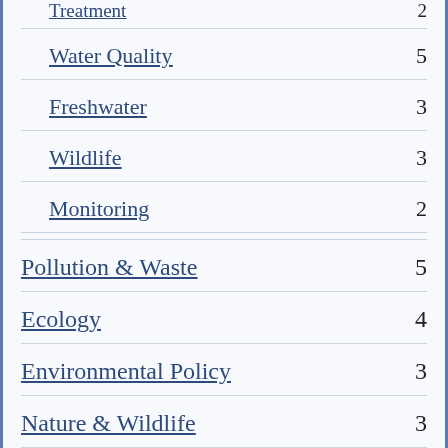Treatment 2
Water Quality 5
Freshwater 3
Wildlife 3
Monitoring 2
Pollution & Waste 5
Ecology 4
Environmental Policy 3
Nature & Wildlife 3